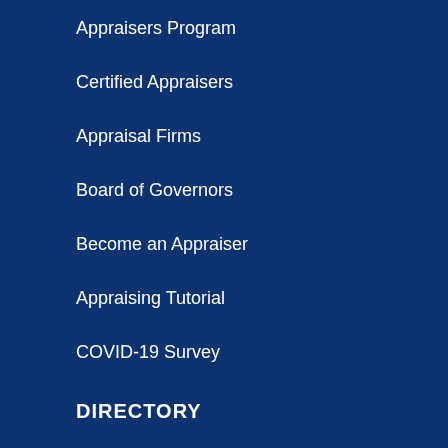Appraisers Program
Certified Appraisers
Appraisal Firms
Board of Governors
Become an Appraiser
Appraising Tutorial
COVID-19 Survey
DIRECTORY
ISTAT App
[Figure (logo): ISTAT app icon — rounded square with ISTAT wordmark and small triangle/mountain logo]
ISTAT ONLINE